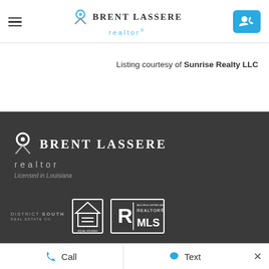Brent Lassere realtor®
Listing courtesy of Sunrise Realty LLC
[Figure (logo): Brent Lassere realtor logo with pin icon, white version on dark background. Licensed in Louisiana. District South Real Estate Co., Equal Housing Opportunity, Realtor MLS badges.]
Call   Text